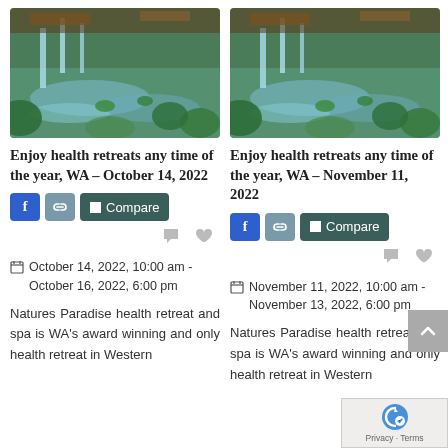[Figure (photo): Nature pool/water feature with green plants, waterfall, outdoor retreat]
Enjoy health retreats any time of the year, WA - October 14, 2022
f | link icon | Compare
comment icon | heart icon
October 14, 2022, 10:00 am - October 16, 2022, 6:00 pm
Natures Paradise health retreat and spa is WA's award winning and only health retreat in Western
[Figure (photo): Nature pool/water feature with green plants, waterfall, outdoor retreat (duplicate)]
Enjoy health retreats any time of the year, WA - November 11, 2022
f | link icon | Compare
comment icon | heart icon
November 11, 2022, 10:00 am - November 13, 2022, 6:00 pm
Natures Paradise health retreat and spa is WA's award winning and only health retreat in Western